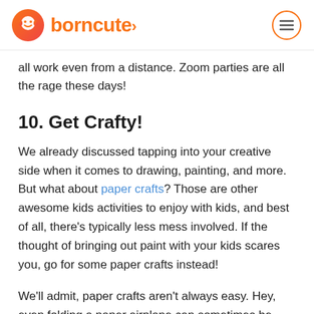borncute
all work even from a distance. Zoom parties are all the rage these days!
10. Get Crafty!
We already discussed tapping into your creative side when it comes to drawing, painting, and more. But what about paper crafts? Those are other awesome kids activities to enjoy with kids, and best of all, there's typically less mess involved. If the thought of bringing out paint with your kids scares you, go for some paper crafts instead!
We'll admit, paper crafts aren't always easy. Hey, even folding a paper airplane can sometimes be difficult, but